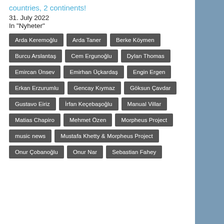countries, 2 continents!
31. July 2022
In "Nyheter"
Arda Keremoğlu
Arda Taner
Berke Köymen
Burcu Arslantaş
Cem Ergunoğlu
Dylan Thomas
Emircan Ünsev
Emirhan Üçkardaş
Engin Ergen
Erkan Erzurumlu
Gencay Kıymaz
Göksun Çavdar
Gustavo Eiriz
İrfan Keçebaşoğlu
Manual Villar
Matias Chapiro
Mehmet Özen
Morpheus Project
music news
Mustafa Khetty & Morpheus Project
Onur Çobanoğlu
Onur Nar
Sebastian Fahey